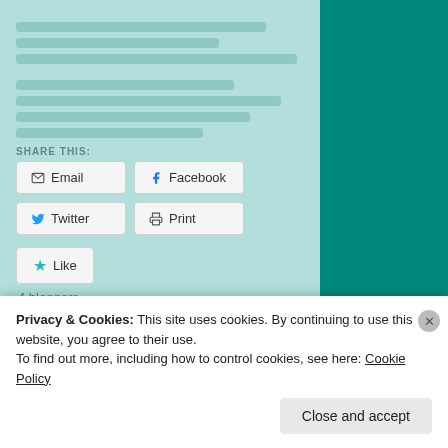[Figure (screenshot): Website screenshot showing share buttons (Email, Facebook, Twitter, Print), a Like button with star icon, '4 bloggers' link, and a 0 COMMENTS / LEAVE A COMMENT bar on a mint/teal background. A teal sidebar is visible on the right.]
Email
Facebook
Twitter
Print
Like
4 bloggers
0 COMMENTS
LEAVE A COMMENT
Privacy & Cookies: This site uses cookies. By continuing to use this website, you agree to their use.
To find out more, including how to control cookies, see here: Cookie Policy
Close and accept